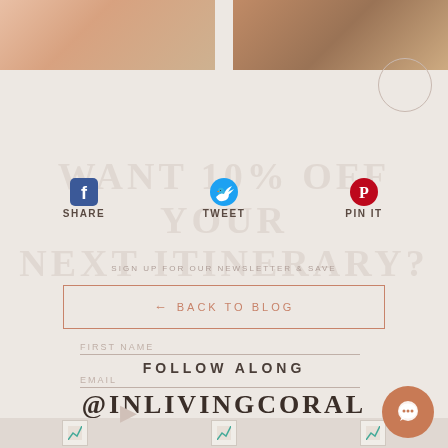[Figure (photo): Two partial product photos at top: left shows an orange/peach drink in a glass, right shows a dark candle or jar on a surface]
WANT 10% OFF YOUR NEXT ITINERARY?
SHARE   TWEET   PIN IT
SIGN UP FOR OUR NEWSLETTER & SAVE
← BACK TO BLOG
FIRST NAME
FOLLOW ALONG
EMAIL
@INLIVINGCORAL
[Figure (photo): Row of three small Instagram thumbnail images in a strip at the bottom]
[Figure (illustration): Chat bubble circle icon in coral/terracotta color at bottom right]